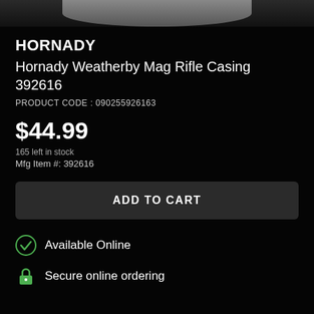[Figure (photo): Partial product image strip at top showing bottom portion of a rifle casing on dark background]
HORNADY
Hornady Weatherby Mag Rifle Casing 392616
PRODUCT CODE : 090255926163
$44.99
165 left in stock
Mfg Item #: 392616
ADD TO CART
Available Online
Secure online ordering